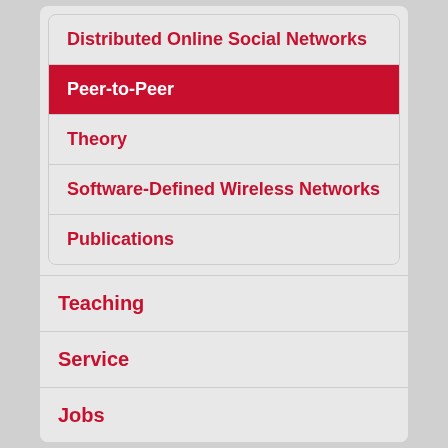Distributed Online Social Networks
Peer-to-Peer
Theory
Software-Defined Wireless Networks
Publications
Teaching
Service
Jobs
Internal area